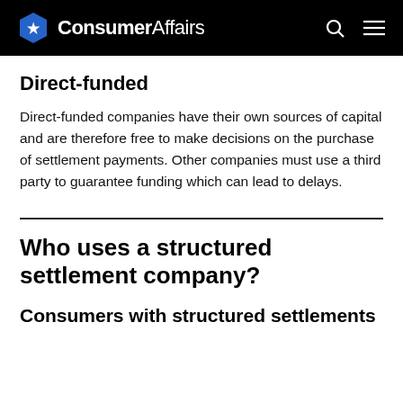ConsumerAffairs
Direct-funded
Direct-funded companies have their own sources of capital and are therefore free to make decisions on the purchase of settlement payments. Other companies must use a third party to guarantee funding which can lead to delays.
Who uses a structured settlement company?
Consumers with structured settlements